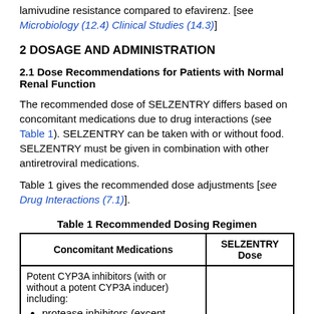lamivudine resistance compared to efavirenz. [see Microbiology (12.4) Clinical Studies (14.3)]
2 DOSAGE AND ADMINISTRATION
2.1 Dose Recommendations for Patients with Normal Renal Function
The recommended dose of SELZENTRY differs based on concomitant medications due to drug interactions (see Table 1). SELZENTRY can be taken with or without food. SELZENTRY must be given in combination with other antiretroviral medications.
Table 1 gives the recommended dose adjustments [see Drug Interactions (7.1)].
Table 1 Recommended Dosing Regimen
| Concomitant Medications | SELZENTRY Dose |
| --- | --- |
| Potent CYP3A inhibitors (with or without a potent CYP3A inducer) including:
• protease inhibitors (except
• tipranavir (discuss) |  |